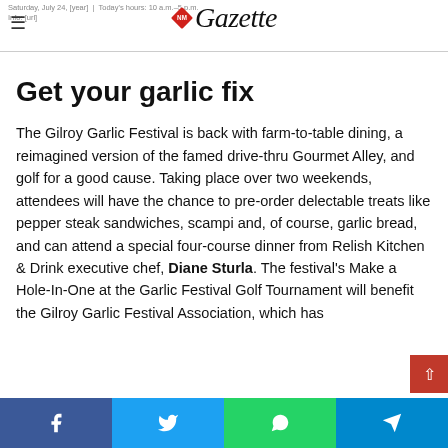Saturday, July 24, [year] | Today's hours: 10 a.m.-5 p.m. | Info: [url]
[Figure (logo): NorCal Gazette newspaper logo with red diamond emblem and italic serif wordmark 'Gazette']
Get your garlic fix
The Gilroy Garlic Festival is back with farm-to-table dining, a reimagined version of the famed drive-thru Gourmet Alley, and golf for a good cause. Taking place over two weekends, attendees will have the chance to pre-order delectable treats like pepper steak sandwiches, scampi and, of course, garlic bread, and can attend a special four-course dinner from Relish Kitchen & Drink executive chef, Diane Sturla. The festival's Make a Hole-In-One at the Garlic Festival Golf Tournament will benefit the Gilroy Garlic Festival Association, which has